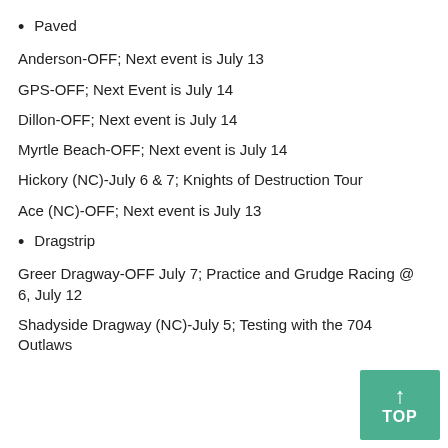Paved
Anderson-OFF; Next event is July 13
GPS-OFF; Next Event is July 14
Dillon-OFF; Next event is July 14
Myrtle Beach-OFF; Next event is July 14
Hickory (NC)-July 6 & 7; Knights of Destruction Tour
Ace (NC)-OFF; Next event is July 13
Dragstrip
Greer Dragway-OFF July 7; Practice and Grudge Racing @ 6, July 12
Shadyside Dragway (NC)-July 5; Testing with the 704 Outlaws